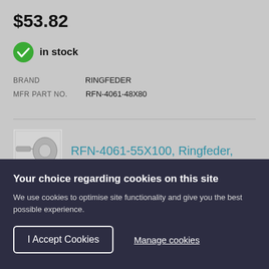$53.82
in stock
BRAND   RINGFEDER
MFR PART NO.   RFN-4061-48X80
[Figure (screenshot): Product thumbnail image showing a Ringfeder part]
RFN-4061-55X100, Ringfeder,
Your choice regarding cookies on this site
We use cookies to optimise site functionality and give you the best possible experience.
I Accept Cookies
Manage cookies